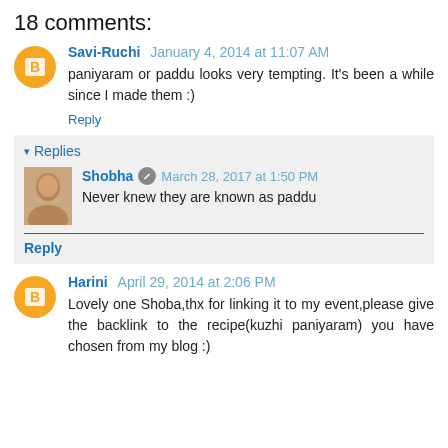18 comments:
Savi-Ruchi January 4, 2014 at 11:07 AM
paniyaram or paddu looks very tempting. It's been a while since I made them :)
Reply
Replies
Shobha March 28, 2017 at 1:50 PM
Never knew they are known as paddu
Reply
Harini April 29, 2014 at 2:06 PM
Lovely one Shoba,thx for linking it to my event,please give the backlink to the recipe(kuzhi paniyaram) you have chosen from my blog :)